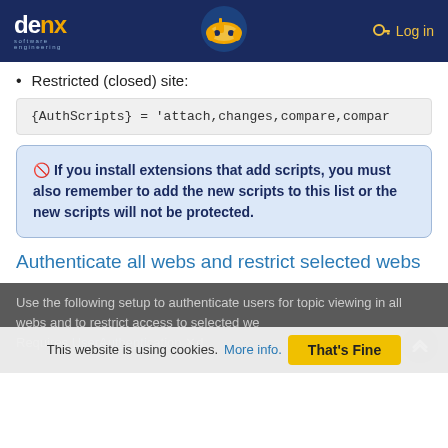denx software engineering | Log in
Restricted (closed) site:
{AuthScripts} = 'attach,changes,compare,compar
If you install extensions that add scripts, you must also remember to add the new scripts to this list or the new scripts will not be protected.
Authenticate all webs and restrict selected webs
Use the following setup to authenticate users for topic viewing in all webs and to restrict access to selected webs. Requires UserAuthentication enabled.
This website is using cookies. More info. That's Fine